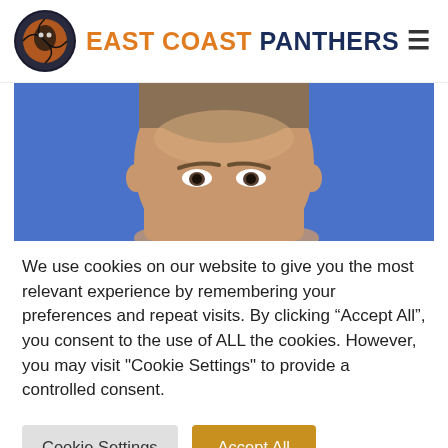EAST COAST PANTHERS
[Figure (photo): Close-up photo of a male athlete's face cropped at forehead level against a blue background]
We use cookies on our website to give you the most relevant experience by remembering your preferences and repeat visits. By clicking “Accept All”, you consent to the use of ALL the cookies. However, you may visit "Cookie Settings" to provide a controlled consent.
Cookie Settings
Accept All